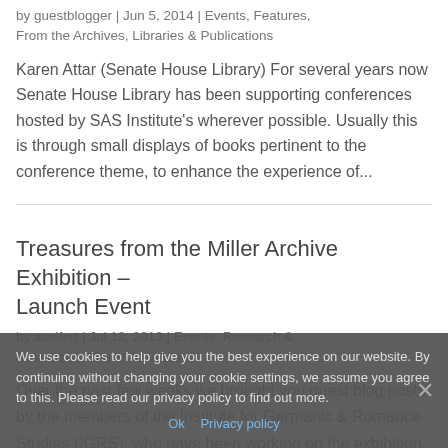by guestblogger | Jun 5, 2014 | Events, Features, From the Archives, Libraries & Publications
Karen Attar (Senate House Library) For several years now Senate House Library has been supporting conferences hosted by SAS Institute's wherever possible. Usually this is through small displays of books pertinent to the conference theme, to enhance the experience of...
Treasures from the Miller Archive Exhibition – Launch Event
by aseifert | Jul 12, 2013 | Events, Research & Resources, The Miller Archive
Over the past few weeks we brought you guest blog posts by the members of the Institute for Germanic & Romance Studies (IGRS), who have been working on the exhibition Theatrical Lives from Vienna to London: Treasures from the Miller Archive. Exhibiti...
We use cookies to help give you the best experience on our website. By continuing without changing your cookie settings, we assume you agree to this. Please read our privacy policy to find out more.